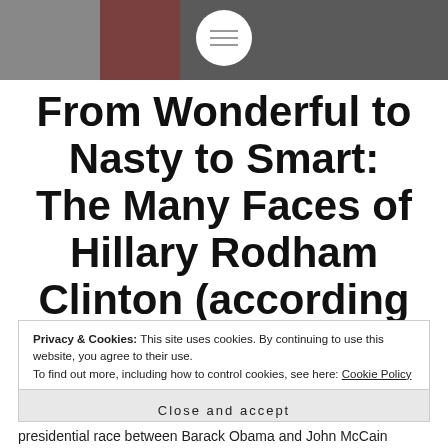[Figure (photo): Crowd photo background with a white circle containing a hamburger menu icon in the center top area]
From Wonderful to Nasty to Smart: The Many Faces of Hillary Rodham Clinton (according to Donald Trump)
Privacy & Cookies: This site uses cookies. By continuing to use this website, you agree to their use. To find out more, including how to control cookies, see here: Cookie Policy
Close and accept
presidential race between Barack Obama and John McCain